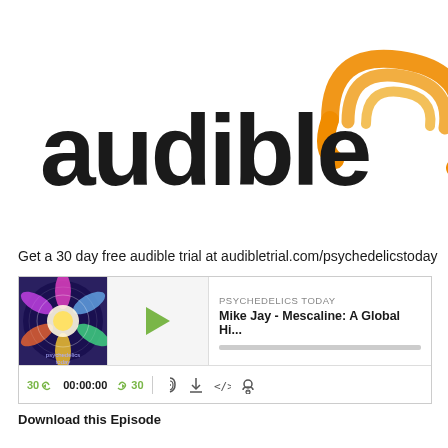[Figure (logo): Audible logo with orange headphone/signal icon and bold dark text 'audible']
Get a 30 day free audible trial at audibletrial.com/psychedelicstoday
[Figure (screenshot): Podcast player widget showing 'PSYCHEDELICS TODAY' podcast, episode 'Mike Jay - Mescaline: A Global Hi...' with play button, progress bar, timer 00:00:00, skip 30 controls, and icons for RSS, download, embed, and notification]
Download this Episode